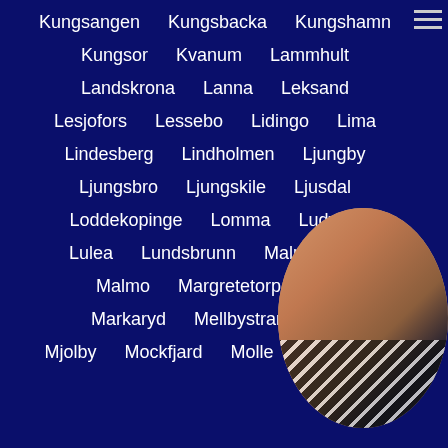Kungsangen
Kungsbacka
Kungshamn
Kungsor
Kvanum
Lammhult
Landskrona
Lanna
Leksand
Lesjofors
Lessebo
Lidingo
Lima
Lindesberg
Lindholmen
Ljungby
Ljungsbro
Ljungskile
Ljusdal
Loddekopinge
Lomma
Ludvika
Lulea
Lundsbrunn
Malmkoping
Malmo
Margretetorp
Ma...
Markaryd
Mellbystrand
M...
Mjolby
Mockfjard
Molle
Monsteras